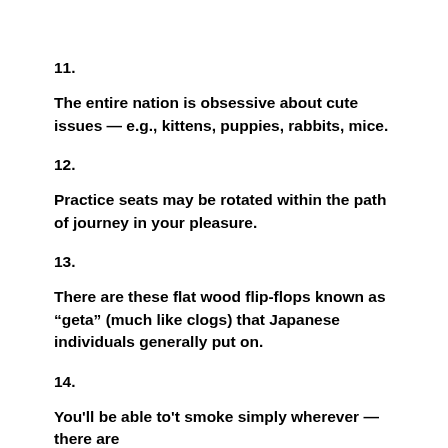11.
The entire nation is obsessive about cute issues — e.g., kittens, puppies, rabbits, mice.
12.
Practice seats may be rotated within the path of journey in your pleasure.
13.
There are these flat wood flip-flops known as “geta” (much like clogs) that Japanese individuals generally put on.
14.
You'll be able to't smoke simply wherever — there are